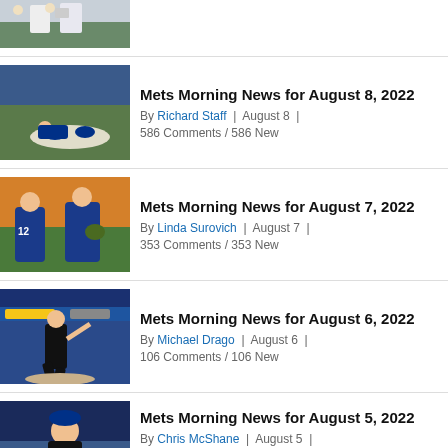[Figure (photo): Partial baseball photo at top of page - players on field]
[Figure (photo): Baseball player diving/sliding on field]
Mets Morning News for August 8, 2022
By Richard Staff | August 8 | 586 Comments / 586 New
[Figure (photo): Two Mets players (#12) on field]
Mets Morning News for August 7, 2022
By Linda Surovich | August 7 | 353 Comments / 353 New
[Figure (photo): Pitcher throwing on mound, Coors Light banner visible]
Mets Morning News for August 6, 2022
By Michael Drago | August 6 | 106 Comments / 106 New
[Figure (photo): Partial view of player at bottom]
Mets Morning News for August 5, 2022
By Chris McShane | August 5 | 505 Comments / 505 New